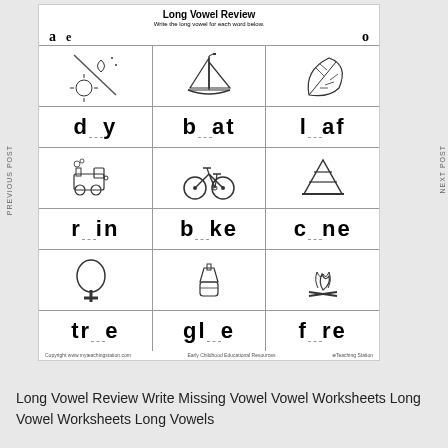Long Vowel Review
Write the long vowel for each word below.
[Figure (illustration): Educational worksheet showing pictures and word blanks for long vowel review: sailboat (b_at), leaf (l_af), train (tr_in), bicycle (b_ke), traffic cone (c_ne), tree (tr_e), glue bottle (gl_e), campfire (f_re)]
Long Vowel Review Write Missing Vowel Vowel Worksheets Long Vowel Worksheets Long Vowels